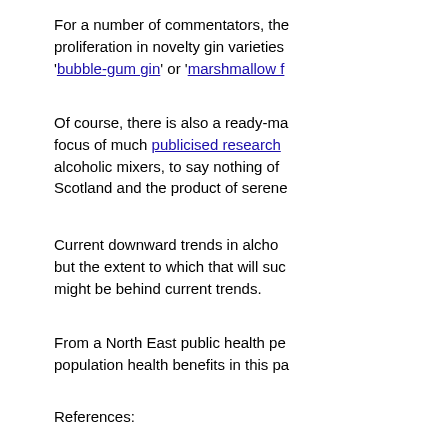For a number of commentators, the proliferation in novelty gin varieties '‘bubble-gum gin’ or ‘marshmallow f
Of course, there is also a ready-ma focus of much publicised research alcoholic mixers, to say nothing of Scotland and the product of serene
Current downward trends in alcho but the extent to which that will suc might be behind current trends.
From a North East public health pe population health benefits in this pa
References: